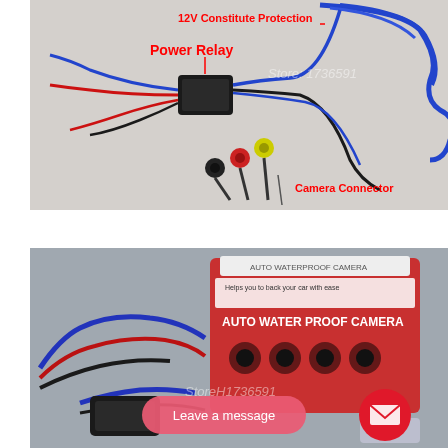[Figure (photo): Photo of a 12V power relay with colored wires (blue, red, black) and camera connectors (yellow, red, black RCA) on a white surface. Red text labels: '12V Constitute Protection', 'Power Relay', 'Camera Connector'. Watermark text: 'Store 1736591'.]
[Figure (photo): Photo of an 'AUTO WATER PROOF CAMERA' product box (red and white) with coiled cables (blue, red, black) and a camera visible in front. Watermark 'StoreH1736591'. Overlay: pink 'Leave a message' button and red circular mail icon.]